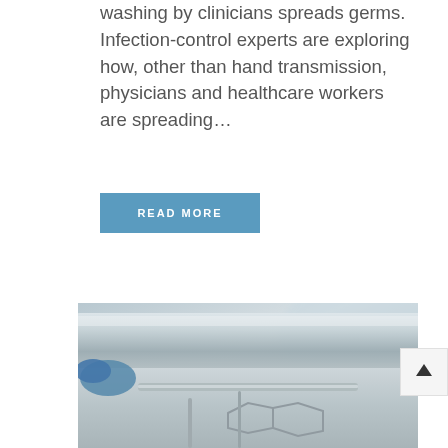washing by clinicians spreads germs. Infection-control experts are exploring how, other than hand transmission, physicians and healthcare workers are spreading…
READ MORE
[Figure (photo): Close-up photograph of stainless steel medical equipment with a gloved hand, showing metallic surgical or dental instruments]
[Figure (other): Scroll-to-top button with an upward arrow icon]